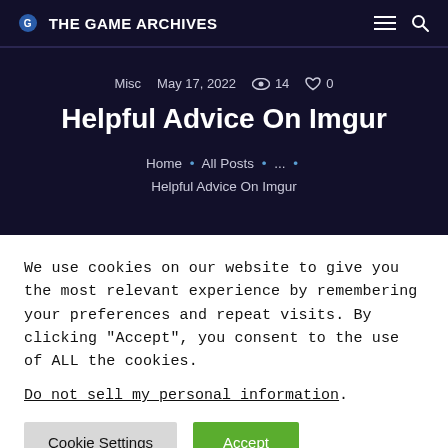THE GAME ARCHIVES
Misc  May 17, 2022  14  0
Helpful Advice On Imgur
Home • All Posts • ... • Helpful Advice On Imgur
We use cookies on our website to give you the most relevant experience by remembering your preferences and repeat visits. By clicking "Accept", you consent to the use of ALL the cookies.
Do not sell my personal information.
Cookie Settings  Accept